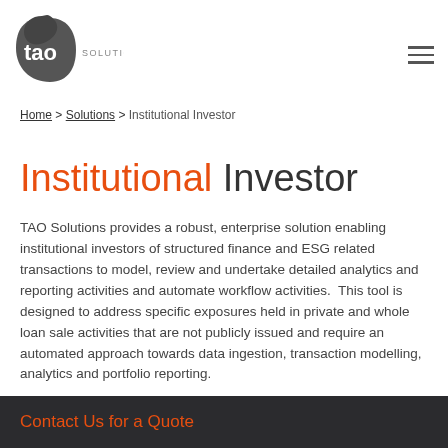[Figure (logo): TAO Solutions logo — dark grey leaf/teardrop shape with 'tao' in white text and 'SOLUTIONS' in grey text beside it]
Home > Solutions > Institutional Investor
Institutional Investor
TAO Solutions provides a robust, enterprise solution enabling institutional investors of structured finance and ESG related transactions to model, review and undertake detailed analytics and reporting activities and automate workflow activities.  This tool is designed to address specific exposures held in private and whole loan sale activities that are not publicly issued and require an automated approach towards data ingestion, transaction modelling, analytics and portfolio reporting.
Contact Us for a Quote